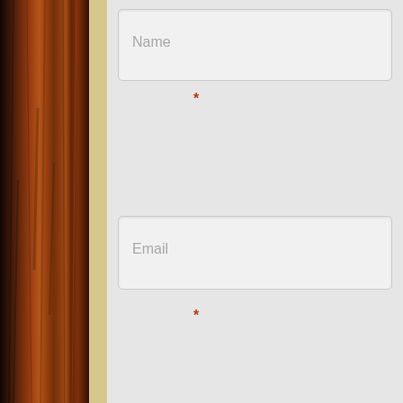[Figure (illustration): Wooden plank sidebar on the left with dark brown wood grain texture, with a cream/beige strip to its right]
Name
*
Email
*
Website
Comment